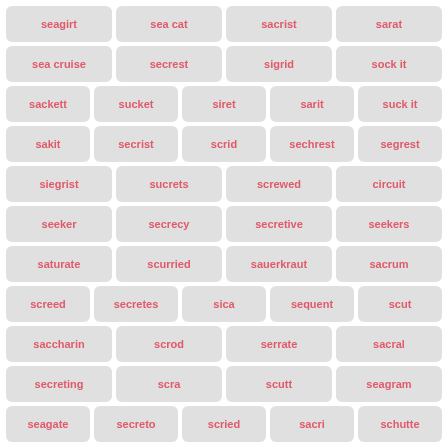seagirt
sea cat
sacrist
sarat
sea cruise
secrest
sigrid
sock it
sackett
sucket
siret
sarit
suck it
sakit
secrist
scrid
sechrest
segrest
siegrist
sucrets
screwed
circuit
seeker
secrecy
secretive
seekers
saturate
scurried
sauerkraut
sacrum
screed
secretes
sica
sequent
scut
saccharin
scrod
serrate
sacral
secreting
scra
scutt
seagram
seagate
secreto
scried
sacri
schutte